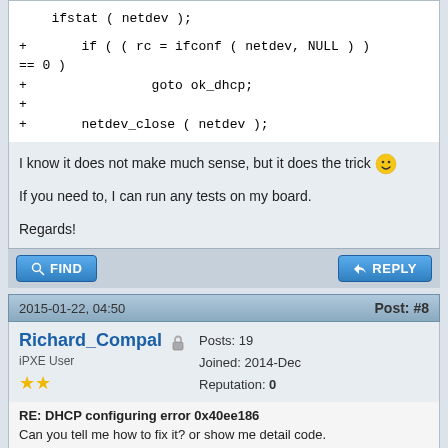ifstat ( netdev );
+ if ( ( rc = ifconf ( netdev, NULL ) ) == 0 )
+                 goto ok_dhcp;
+
+         netdev_close ( netdev );
I know it does not make much sense, but it does the trick 😀
If you need to, I can run any tests on my board.
Regards!
2015-01-22, 04:50   Post: #8
Richard_Compal  iPXE User  ★★  Posts: 19  Joined: 2014-Dec  Reputation: 0
RE: DHCP configuring error 0x40ee186
Can you tell me how to fix it? or show me detail code.